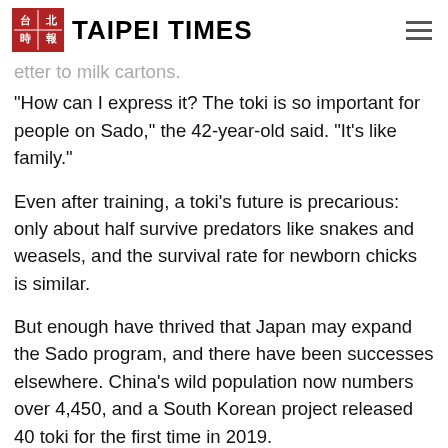TAIPEI TIMES
"How can I express it? The toki is so important for people on Sado," the 42-year-old said. "It's like family."
Even after training, a toki's future is precarious: only about half survive predators like snakes and weasels, and the survival rate for newborn chicks is similar.
But enough have thrived that Japan may expand the Sado program, and there have been successes elsewhere. China's wild population now numbers over 4,450, and a South Korean project released 40 toki for the first time in 2019.
For Saito, who speaks as toki squawk nearby, the bird's resurrection is part of a bigger achievement on Sado — a new approach to farming and the environment.
"When this project started, what I dreamed of the most…